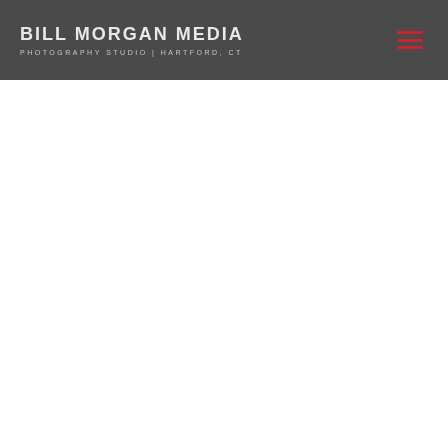BILL MORGAN MEDIA | PHOTOGRAPHY STUDIO | HARTFORD, CT
[Figure (other): Hamburger menu icon with three red horizontal lines on dark grey header bar]